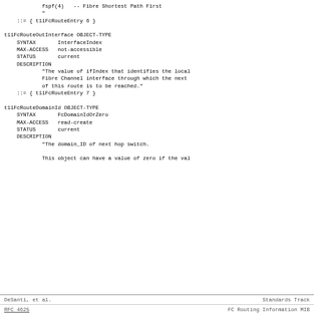fspf(4) -- Fibre Shortest Path First
"
::= { t11FcRouteEntry 6 }
t11FcRouteOutInterface OBJECT-TYPE
    SYNTAX       InterfaceIndex
    MAX-ACCESS   not-accessible
    STATUS       current
    DESCRIPTION
            "The value of ifIndex that identifies the local
            Fibre Channel interface through which the next
            of this route is to be reached."
    ::= { t11FcRouteEntry 7 }
t11FcRouteDomainId OBJECT-TYPE
    SYNTAX       FcDomainIdOrZero
    MAX-ACCESS   read-create
    STATUS       current
    DESCRIPTION
            "The domain_ID of next hop switch.

            This object can have a value of zero if the val
DeSanti, et al.                Standards Track
RFC 4625               FC Routing Information MIB